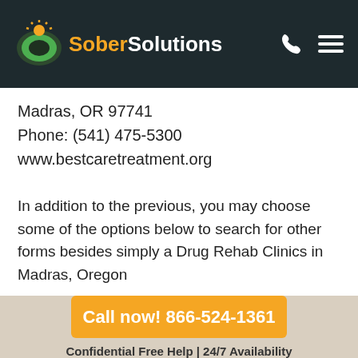Sober Solutions
Madras, OR 97741
Phone: (541) 475-5300
www.bestcaretreatment.org
In addition to the previous, you may choose some of the options below to search for other forms besides simply a Drug Rehab Clinics in Madras, Oregon
Call now! 866-524-1361
Confidential Free Help | 24/7 Availability